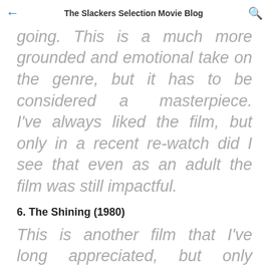The Slackers Selection Movie Blog
Let's keep the alien theme going. This is a much more grounded and emotional take on the genre, but it has to be considered a masterpiece. I've always liked the film, but only in a recent re-watch did I see that even as an adult the film was still impactful.
6. The Shining (1980)
This is another film that I've long appreciated, but only recently have really grown to love. I've always enjoyed the